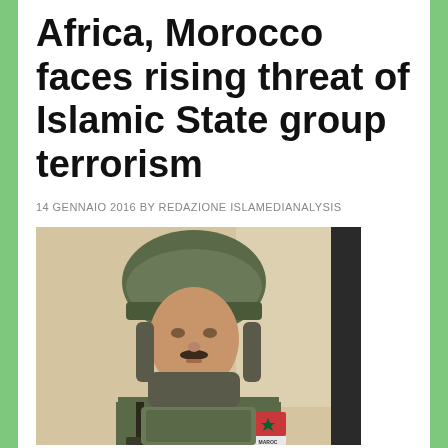Africa, Morocco faces rising threat of Islamic State group terrorism
14 GENNAIO 2016 BY REDAZIONE ISLAMEDIANALYSIS
[Figure (photo): A Moroccan soldier in military camouflage uniform and helmet, holding a weapon, with a MAROC patch and Moroccan flag patch visible on the sleeve.]